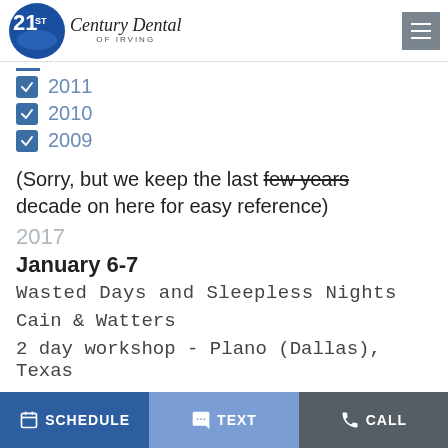[Figure (logo): 21st Century Dental of Irving logo with blue circular emblem]
2011
2010
2009
(Sorry, but we keep the last few years [strikethrough] decade on here for easy reference)
2017
January 6-7
Wasted Days and Sleepless Nights
Cain & Watters
2 day workshop - Plano (Dallas), Texas
SCHEDULE   TEXT   CALL